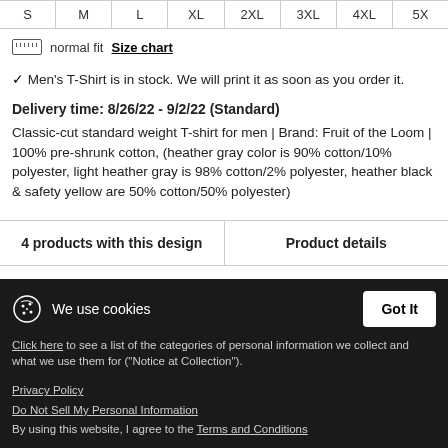| S | M | L | XL | 2XL | 3XL | 4XL | 5... |
| --- | --- | --- | --- | --- | --- | --- | --- |
|  |
normal fit  Size chart
✓ Men's T-Shirt is in stock. We will print it as soon as you order it.
Delivery time: 8/26/22 - 9/2/22 (Standard)
Classic-cut standard weight T-shirt for men | Brand: Fruit of the Loom | 100% pre-shrunk cotton, (heather gray color is 90% cotton/10% polyester, light heather gray is 98% cotton/2% polyester, heather black & safety yellow are 50% cotton/50% polyester)
4 products with this design    Product details
We use cookies
Click here to see a list of the categories of personal information we collect and what we use them for ("Notice at Collection").
Privacy Policy
Do Not Sell My Personal Information
By using this website, I agree to the Terms and Conditions